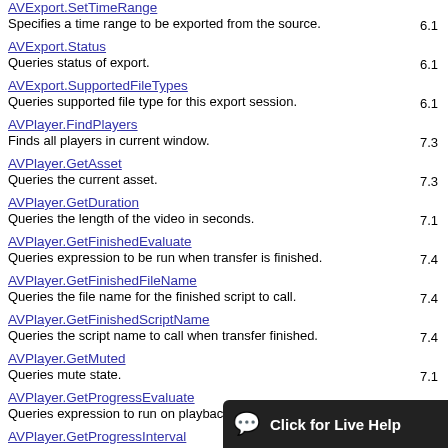AVExport.SetTimeRange
Specifies a time range to be exported from the source.	6.1
AVExport.Status
Queries status of export.	6.1
AVExport.SupportedFileTypes
Queries supported file type for this export session.	6.1
AVPlayer.FindPlayers
Finds all players in current window.	7.3
AVPlayer.GetAsset
Queries the current asset.	7.3
AVPlayer.GetDuration
Queries the length of the video in seconds.	7.1
AVPlayer.GetFinishedEvaluate
Queries expression to be run when transfer is finished.	7.4
AVPlayer.GetFinishedFileName
Queries the file name for the finished script to call.	7.4
AVPlayer.GetFinishedScriptName
Queries the script name to call when transfer finished.	7.4
AVPlayer.GetMuted
Queries mute state.	7.1
AVPlayer.GetProgressEvaluate
Queries expression to run on playback.	7.4
AVPlayer.GetProgressInterval
Queries progress interval.	7.4